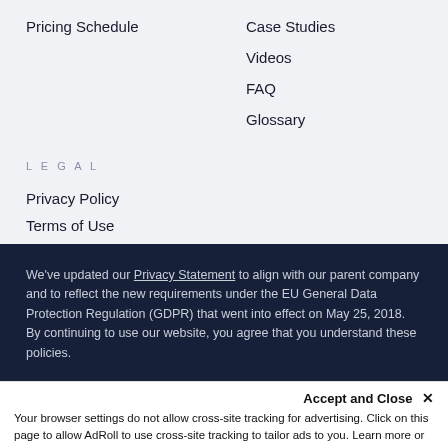Pricing Schedule
Case Studies
Videos
FAQ
Glossary
LEGAL
Privacy Policy
Terms of Use
We've updated our Privacy Statement to align with our parent company and to reflect the new requirements under the EU General Data Protection Regulation (GDPR) that went into effect on May 25, 2018. By continuing to use our website, you agree that you understand these policies.
Accept and Close ✕
Your browser settings do not allow cross-site tracking for advertising. Click on this page to allow AdRoll to use cross-site tracking to tailor ads to you. Learn more or opt out of this AdRoll tracking by clicking here. This message only appears once.